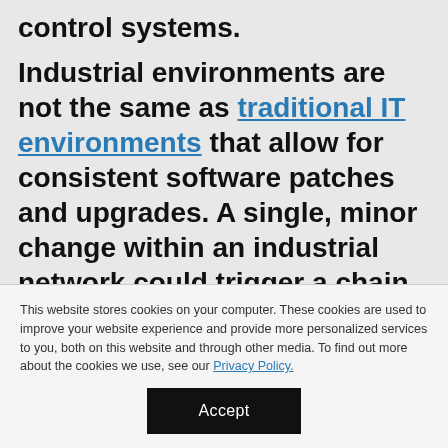control systems.
Industrial environments are not the same as traditional IT environments that allow for consistent software patches and upgrades. A single, minor change within an industrial network could trigger a chain of damaging events. Consequently, legacy plant control systems commonly run out-of-date operating
This website stores cookies on your computer. These cookies are used to improve your website experience and provide more personalized services to you, both on this website and through other media. To find out more about the cookies we use, see our Privacy Policy.